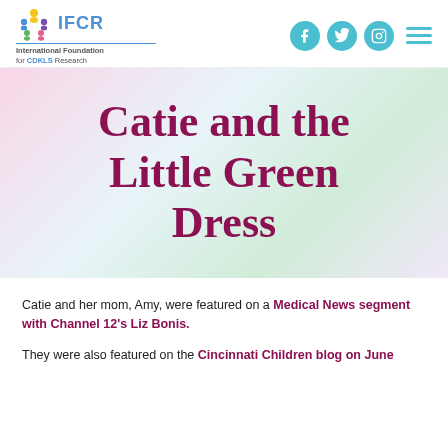IFCR International Foundation for CDKLS Research
Catie and the Little Green Dress
Catie and her mom, Amy, were featured on a Medical News segment with Channel 12's Liz Bonis.
They were also featured on the Cincinnati Children blog on June